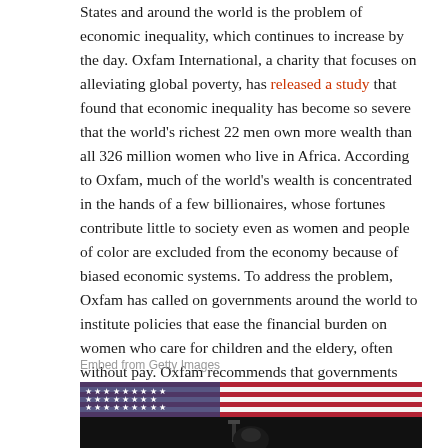States and around the world is the problem of economic inequality, which continues to increase by the day. Oxfam International, a charity that focuses on alleviating global poverty, has released a study that found that economic inequality has become so severe that the world's richest 22 men own more wealth than all 326 million women who live in Africa. According to Oxfam, much of the world's wealth is concentrated in the hands of a few billionaires, whose fortunes contribute little to society even as women and people of color are excluded from the economy because of biased economic systems. To address the problem, Oxfam has called on governments around the world to institute policies that ease the financial burden on women who care for children and the eldery, often without pay. Oxfam recommends that governments increase taxes on the wealthy in order to fund programs to support child care and health care.
Embed from Getty Images
[Figure (photo): A man speaking at a podium in front of a large American flag, photographed from below in low light.]